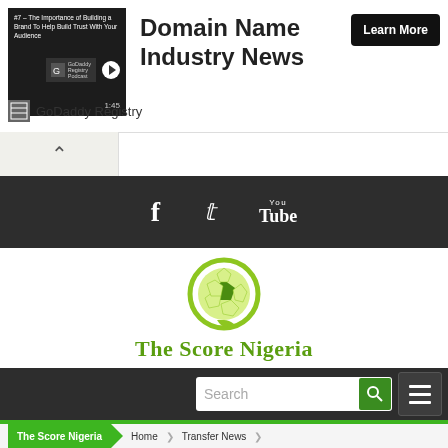[Figure (screenshot): GoDaddy Registry podcast ad banner with thumbnail image, title 'Domain Name Industry News', Learn More button, and GoDaddy Registry brand label]
Domain Name Industry News
Learn More
GoDaddy Registry
[Figure (infographic): Collapse/hide chevron button]
[Figure (infographic): Dark social media bar with Facebook, Twitter, and YouTube icons]
[Figure (logo): The Score Nigeria logo with soccer ball graphic and green text]
[Figure (infographic): Dark navigation bar with search box and hamburger menu]
The Score Nigeria
Home
Transfer News
Chelsea confirmed Ben Chiwell completed signing